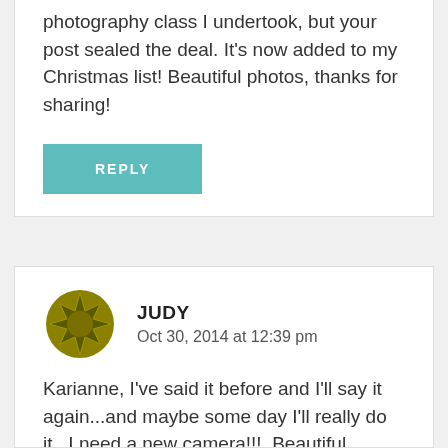photography class I undertook, but your post sealed the deal. It's now added to my Christmas list! Beautiful photos, thanks for sharing!
[Figure (other): Teal/cyan REPLY button]
[Figure (illustration): Gold/olive star-burst avatar icon for user JUDY]
JUDY
Oct 30, 2014 at 12:39 pm
Karianne, I've said it before and I'll say it again...and maybe some day I'll really do it...I need a new camera!!!. Beautiful, absolutely beautiful and I love the little tables too. Can't wait to see how you did it. Happy